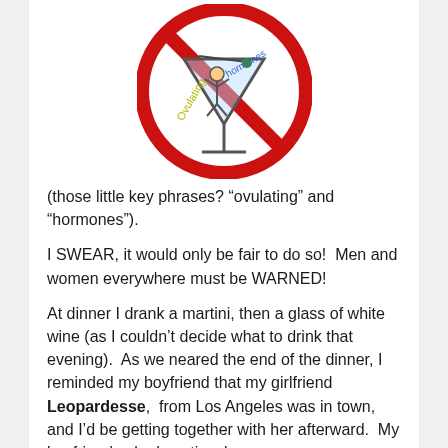[Figure (illustration): A red circle with a diagonal red slash through it (prohibition/no sign), overlaid on a cartoon martini glass with a person figure inside it. The words 'Ovulating' and 'hormones' appear in yellow-green and blue text respectively within the illustration.]
(those little key phrases? “ovulating” and “hormones”).
I SWEAR, it would only be fair to do so!  Men and women everywhere must be WARNED!
At dinner I drank a martini, then a glass of white wine (as I couldn’t decide what to drink that evening).  As we neared the end of the dinner, I reminded my boyfriend that my girlfriend Leopardesse,  from Los Angeles was in town, and I’d be getting together with her afterward.  My boyfriend asked cautiously